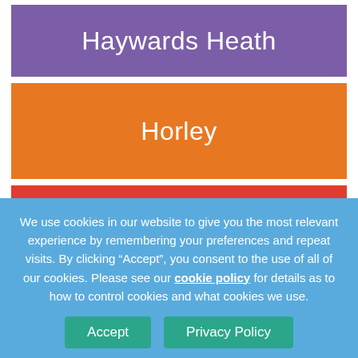Haywards Heath
Horley
Reigate
Business
We use cookies in our website to give you the most relevant experience by remembering your preferences and repeat visits. By clicking “Accept”, you consent to the use of all of our cookies. Please see our cookie policy for details as to how to control cookies and what cookies we use.
Accept
Privacy Policy